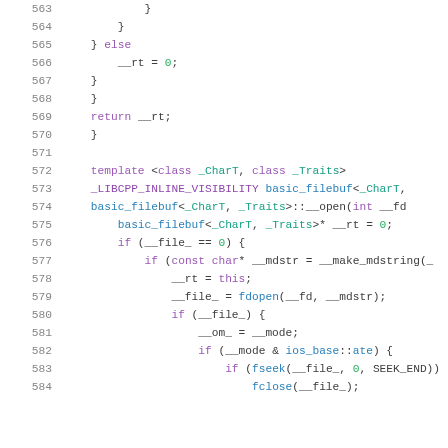Source code listing, lines 563-584, C++ basic_filebuf implementation